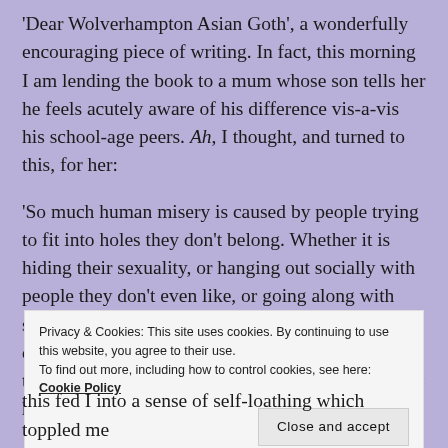'Dear Wolverhampton Asian Goth', a wonderfully encouraging piece of writing. In fact, this morning I am lending the book to a mum whose son tells her he feels acutely aware of his difference vis-a-vis his school-age peers. Ah, I thought, and turned to this, for her:

'So much human misery is caused by people trying to fit into holes they don't belong. Whether it is hiding their sexuality, or hanging out socially with people they don't even like, or going along with stuff just because of social and family pressure to do so. But you're already there. It is almost certain that you will not remain as you are, but you already have the courage to be different. You're
Privacy & Cookies: This site uses cookies. By continuing to use this website, you agree to their use.
To find out more, including how to control cookies, see here: Cookie Policy
Close and accept
this fed I into a sense of self-loathing which toppled me